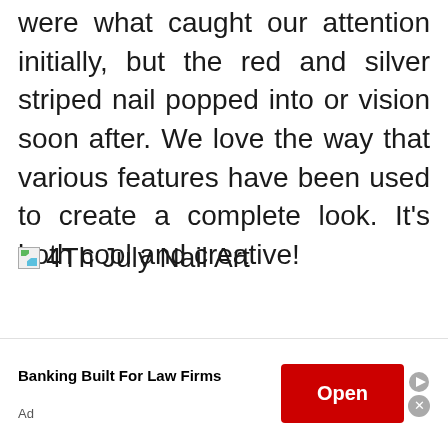were what caught our attention initially, but the red and silver striped nail popped into or vision soon after. We love the way that various features have been used to create a complete look. It's both cool and creative!
[Figure (illustration): Broken image placeholder with label '4Th July Nail Art']
4Th July Nail Art
Banking Built For Law Firms
Ad